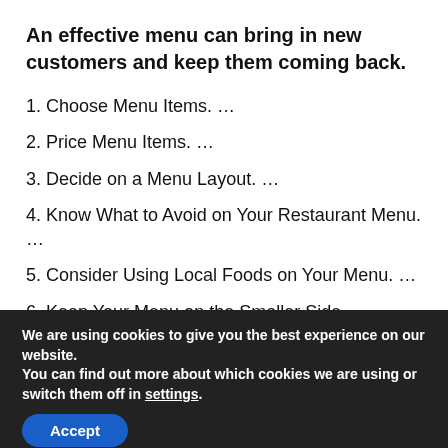An effective menu can bring in new customers and keep them coming back.
1. Choose Menu Items. …
2. Price Menu Items. …
3. Decide on a Menu Layout. …
4. Know What to Avoid on Your Restaurant Menu. …
5. Consider Using Local Foods on Your Menu. …
6. Keep Your Menu on the Smaller Side. …
We are using cookies to give you the best experience on our website.
You can find out more about which cookies we are using or switch them off in settings.